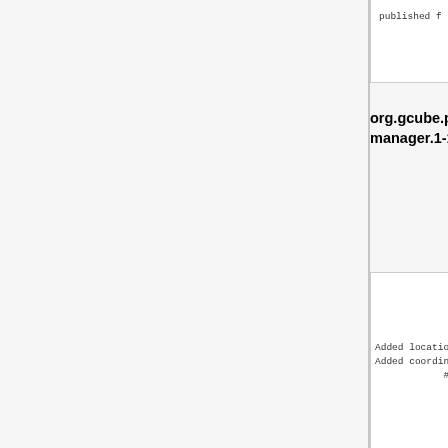published f
org.gcube.portlets.user.data-miner-manager.1-10-0
Added location and zoom
Added coordinates EPSG:
#11710]
org.gcube.portlets.user.statistical-algorithms-importer.1-13-2
Updated resource select
WorkspaceEx
org.gcube.portlets.widgets.openlayer-basic-widgets.1-3-0